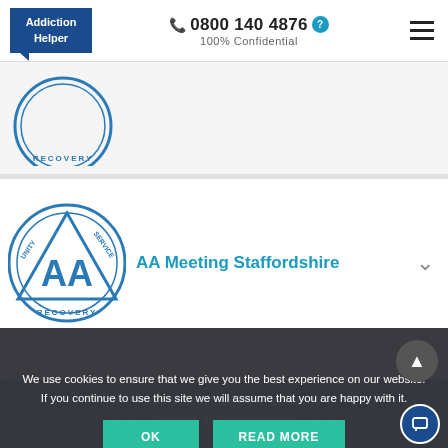Addiction Helper | 0800 140 4876 | 100% Confidential
[Figure (logo): AA Recovery circular logo (partial) - blue circle with triangle and AA text, RECOVERY text at bottom]
[Figure (logo): AA Meeting Alcoholics Anonymous logo - blue circle with triangle, UNITY SERVICE RECOVERY text, AA in center]
AA Meeting Staffordshire
We use cookies to ensure that we give you the best experience on our website. If you continue to use this site we will assume that you are happy with it.
OK
READ MORE
Find Private, Luxury Treatment Centers in Staffordshire